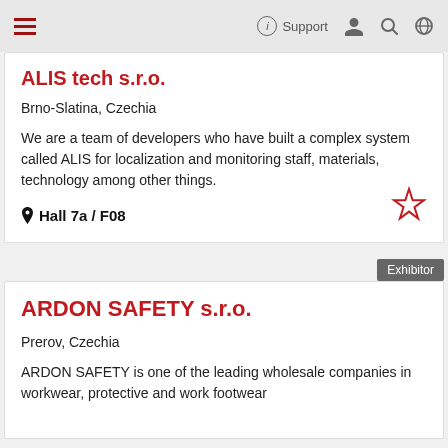Support
ALIS tech s.r.o.
Brno-Slatina, Czechia
We are a team of developers who have built a complex system called ALIS for localization and monitoring staff, materials, technology among other things.
Hall 7a / F08
Exhibitor
ARDON SAFETY s.r.o.
Prerov, Czechia
ARDON SAFETY is one of the leading wholesale companies in workwear, protective and work footwear